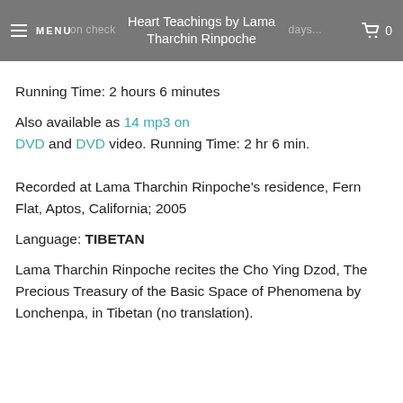Heart Teachings by Lama Tharchin Rinpoche
Running Time: 2 hours 6 minutes
Also available as 14 mp3 on DVD and DVD video. Running Time: 2 hr 6 min.
Recorded at Lama Tharchin Rinpoche's residence, Fern Flat, Aptos, California; 2005
Language: TIBETAN
Lama Tharchin Rinpoche recites the Cho Ying Dzod, The Precious Treasury of the Basic Space of Phenomena by Lonchenpa, in Tibetan (no translation).